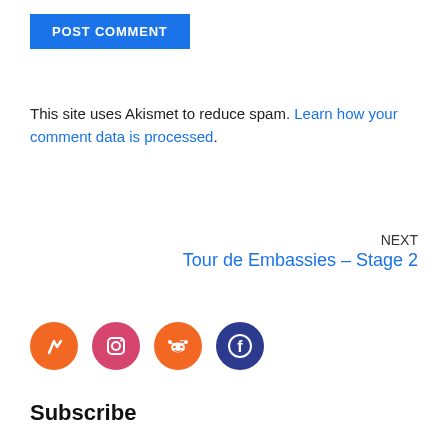POST COMMENT
This site uses Akismet to reduce spam. Learn how your comment data is processed.
NEXT
Tour de Embassies – Stage 2
[Figure (illustration): Four social media icon circles: Strava (orange), Instagram (pink/red), Reddit (orange), Facebook (dark blue)]
Subscribe
First name
Email *